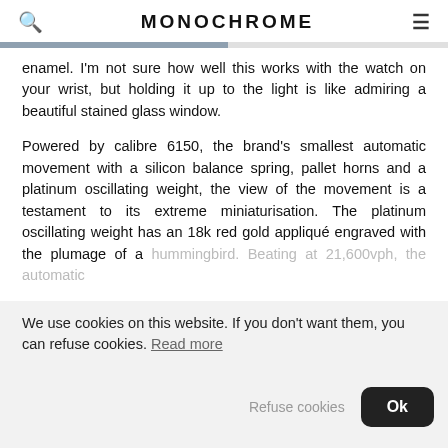MONOCHROME
enamel. I'm not sure how well this works with the watch on your wrist, but holding it up to the light is like admiring a beautiful stained glass window.
Powered by calibre 6150, the brand's smallest automatic movement with a silicon balance spring, pallet horns and a platinum oscillating weight, the view of the movement is a testament to its extreme miniaturisation. The platinum oscillating weight has an 18k red gold appliqué engraved with the plumage of a hummingbird. Beating at 21,600vph, the automatic
We use cookies on this website. If you don't want them, you can refuse cookies. Read more
Refuse cookies Ok